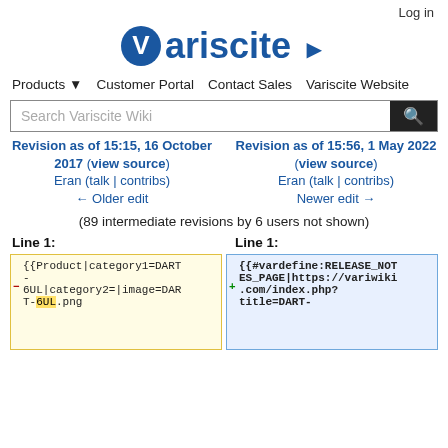Log in
[Figure (logo): Variscite logo with blue V icon and arrow]
Products ▾  Customer Portal  Contact Sales  Variscite Website
Search Variscite Wiki
Revision as of 15:15, 16 October 2017 (view source)
Eran (talk | contribs)
← Older edit
Revision as of 15:56, 1 May 2022 (view source)
Eran (talk | contribs)
Newer edit →
(89 intermediate revisions by 6 users not shown)
Line 1:
Line 1:
{{Product|category1=DART
-
6UL|category2=|image=DART-6UL.png
{{#vardefine:RELEASE_NOTES_PAGE|https://variwiki.com/index.php?title=DART-